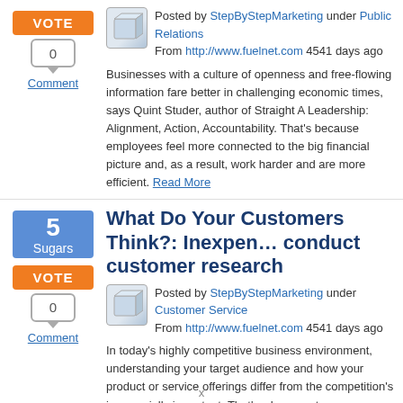Posted by StepByStepMarketing under Public Relations
From http://www.fuelnet.com 4541 days ago
Businesses with a culture of openness and free-flowing information fare better in challenging economic times, says Quint Studer, author of Straight A Leadership: Alignment, Action, Accountability. That's because employees feel more connected to the big financial picture and, as a result, work harder and are more efficient. Read More
What Do Your Customers Think?: Inexpensive ways to conduct customer research
Posted by StepByStepMarketing under Customer Service
From http://www.fuelnet.com 4541 days ago
In today's highly competitive business environment, understanding your target audience and how your product or service offerings differ from the competition's is especially important. That's where customer satisfaction research comes in. You need to ask your customers how your company is performing in their eyes, rather than make an educated guess about what they think of your products or services.